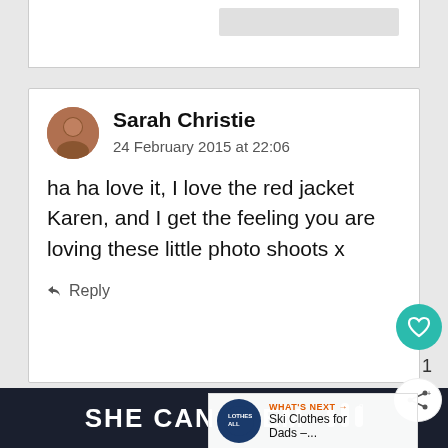[Figure (screenshot): Top partial comment card visible at top of page]
Sarah Christie
24 February 2015 at 22:06
ha ha love it, I love the red jacket Karen, and I get the feeling you are loving these little photo shoots x
Reply
Hayley @hayleyfromhome
24 February 2015 at 22:46
WHAT'S NEXT → Ski Clothes for Dads –...
SHE CAN STEM